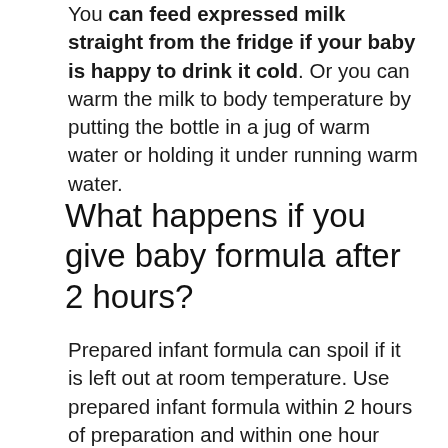You can feed expressed milk straight from the fridge if your baby is happy to drink it cold. Or you can warm the milk to body temperature by putting the bottle in a jug of warm water or holding it under running warm water.
What happens if you give baby formula after 2 hours?
Prepared infant formula can spoil if it is left out at room temperature. Use prepared infant formula within 2 hours of preparation and within one hour from when feeding begins. If you do not start to use the prepared infant formula within 2 hours, immediately store the bottle in the fridge and use it within 24 hours.